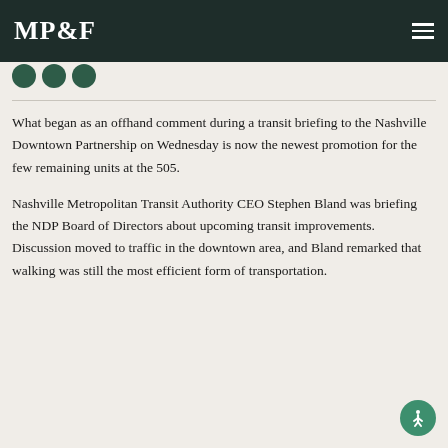MP&F
[Figure (other): Three dark green circles in a row below the header bar]
What began as an offhand comment during a transit briefing to the Nashville Downtown Partnership on Wednesday is now the newest promotion for the few remaining units at the 505.
Nashville Metropolitan Transit Authority CEO Stephen Bland was briefing the NDP Board of Directors about upcoming transit improvements. Discussion moved to traffic in the downtown area, and Bland remarked that walking was still the most efficient form of transportation.